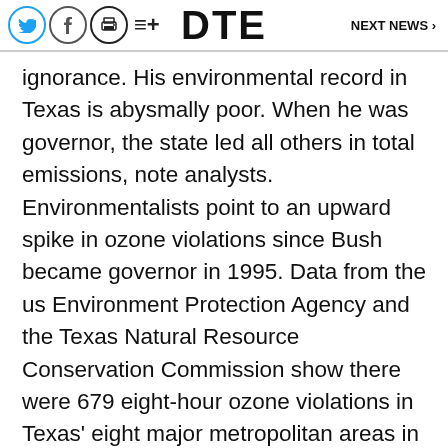DTE   NEXT NEWS >
ignorance. His environmental record in Texas is abysmally poor. When he was governor, the state led all others in total emissions, note analysts. Environmentalists point to an upward spike in ozone violations since Bush became governor in 1995. Data from the us Environment Protection Agency and the Texas Natural Resource Conservation Commission show there were 679 eight-hour ozone violations in Texas' eight major metropolitan areas in the 1995-99 period, up from 508 in 1990-94.
As for the negotiations associated with the